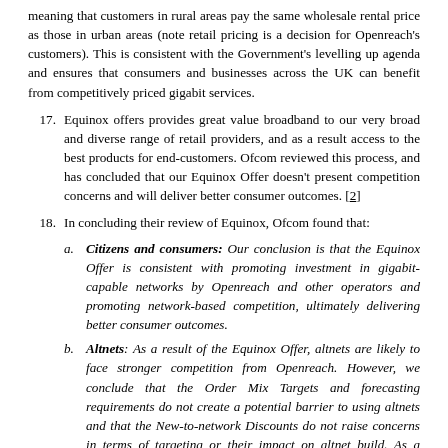meaning that customers in rural areas pay the same wholesale rental price as those in urban areas (note retail pricing is a decision for Openreach's customers). This is consistent with the Government's levelling up agenda and ensures that consumers and businesses across the UK can benefit from competitively priced gigabit services.
17. Equinox offers provides great value broadband to our very broad and diverse range of retail providers, and as a result access to the best products for end-customers. Ofcom reviewed this process, and has concluded that our Equinox Offer doesn't present competition concerns and will deliver better consumer outcomes. [2]
18. In concluding their review of Equinox, Ofcom found that:
a. Citizens and consumers: Our conclusion is that the Equinox Offer is consistent with promoting investment in gigabit-capable networks by Openreach and other operators and promoting network-based competition, ultimately delivering better consumer outcomes.
b. Altnets: As a result of the Equinox Offer, altnets are likely to face stronger competition from Openreach. However, we conclude that the Order Mix Targets and forecasting requirements do not create a potential barrier to using altnets and that the New-to-network Discounts do not raise concerns in terms of targeting or their impact on altnet build. As a result, our conclusion is that the Equinox Offer is consistent with network-based competition.
c. ISPs: We consider that ISPs are likely to benefit from network-based competition. As explained below, we conclude that ISPs will